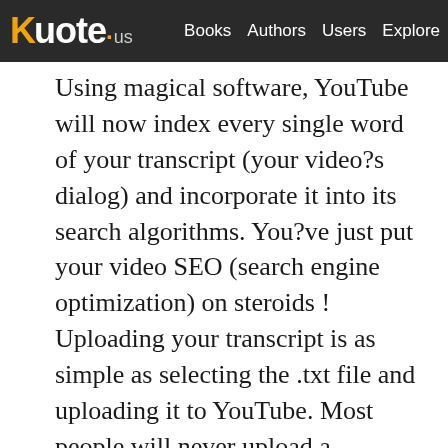Kuote.us   Books   Authors   Users   Explore
Using magical software, YouTube will now index every single word of your transcript (your video?s dialog) and incorporate it into its search algorithms. You?ve just put your video SEO (search engine optimization) on steroids ! Uploading your transcript is as simple as selecting the .txt file and uploading it to YouTube. Most people will never upload a transcript, and YouTube is forced to determine what a video?s topic is based solely on